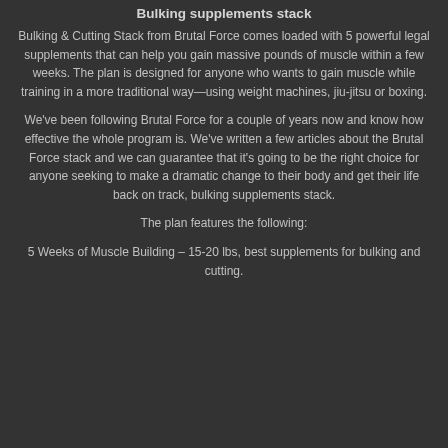Bulking supplements stack
Bulking & Cutting Stack from Brutal Force comes loaded with 5 powerful legal supplements that can help you gain massive pounds of muscle within a few weeks. The plan is designed for anyone who wants to gain muscle while training in a more traditional way—using weight machines, jiu-jitsu or boxing.
We've been following Brutal Force for a couple of years now and know how effective the whole program is. We've written a few articles about the Brutal Force stack and we can guarantee that it's going to be the right choice for anyone seeking to make a dramatic change to their body and get their life back on track, bulking supplements stack.
The plan features the following:
5 Weeks of Muscle Building – 15-20 lbs, best supplements for bulking and cutting.